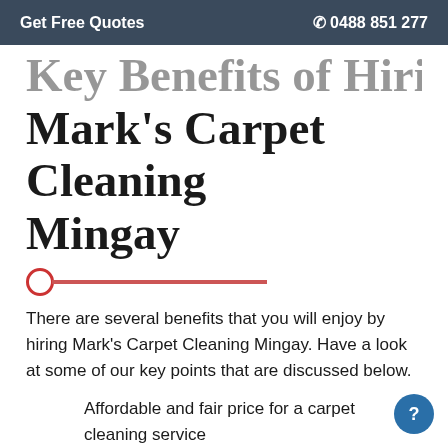Get Free Quotes   📞 0488 851 277
Key Benefits of Hiring Mark's Carpet Cleaning Mingay
There are several benefits that you will enjoy by hiring Mark's Carpet Cleaning Mingay. Have a look at some of our key points that are discussed below.
Affordable and fair price for a carpet cleaning service
On-time availability
Best skilled technicians that are expert in cleaning all types of stains.
The services delivered by our professionals are long-lasting.
We use finest cleaning agents for carpet steam and cleaning